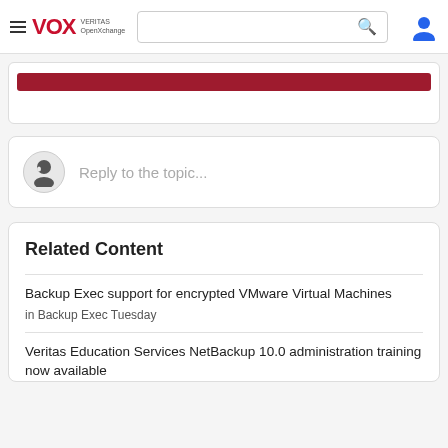VOX VERITAS OpenXchange — navigation bar with search and user icon
[Figure (screenshot): Red bar UI element inside a white card (partially visible from above scroll)]
Reply to the topic...
Related Content
Backup Exec support for encrypted VMware Virtual Machines
in Backup Exec Tuesday
Veritas Education Services NetBackup 10.0 administration training now available